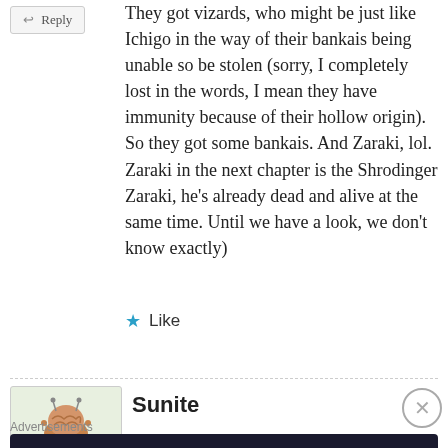← Reply
They got vizards, who might be just like Ichigo in the way of their bankais being unable so be stolen (sorry, I completely lost in the words, I mean they have immunity because of their hollow origin). So they got some bankais. And Zaraki, lol. Zaraki in the next chapter is the Shrodinger Zaraki, he's already dead and alive at the same time. Until we have a look, we don't know exactly)
★ Like
[Figure (illustration): Avatar image of Sunite, showing a cartoon brain character on a light green background]
Sunite
Advertisements
[Figure (other): Advertisement banner with dark background reading 'Launch your online course with WordPress' with a Learn More button and a Teachable-style icon]